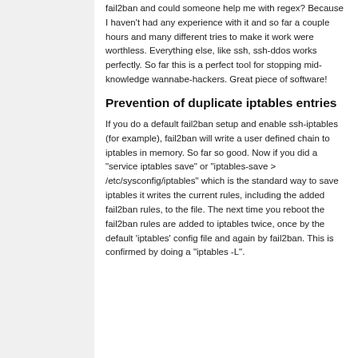fail2ban and could someone help me with regex? Because I haven't had any experience with it and so far a couple hours and many different tries to make it work were worthless. Everything else, like ssh, ssh-ddos works perfectly. So far this is a perfect tool for stopping mid-knowledge wannabe-hackers. Great piece of software!
Prevention of duplicate iptables entries
If you do a default fail2ban setup and enable ssh-iptables (for example), fail2ban will write a user defined chain to iptables in memory. So far so good. Now if you did a "service iptables save" or "iptables-save > /etc/sysconfig/iptables" which is the standard way to save iptables it writes the current rules, including the added fail2ban rules, to the file. The next time you reboot the fail2ban rules are added to iptables twice, once by the default 'iptables' config file and again by fail2ban. This is confirmed by doing a "iptables -L".